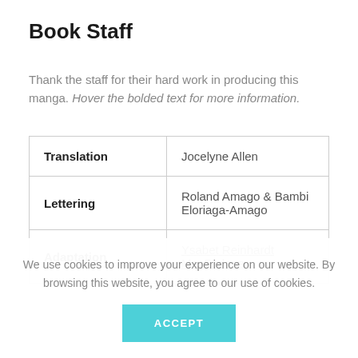Book Staff
Thank the staff for their hard work in producing this manga. Hover the bolded text for more information.
| Role | Name |
| --- | --- |
| Translation | Jocelyne Allen |
| Lettering | Roland Amago & Bambi Eloriaga-Amago |
| Adaptation | Ysabet Reinhardt MacFarlane |
We use cookies to improve your experience on our website. By browsing this website, you agree to our use of cookies.